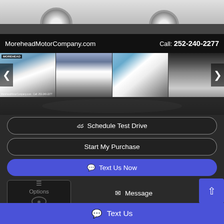[Figure (photo): Top portion of a white GMC pickup truck, showing wheels on pavement, cropped at top of page]
MoreheadMotorCompany.com   Call: 252-240-2277
[Figure (photo): Thumbnail strip showing four photos of a white GMC pickup truck: front view, rear view, side view, and interior view]
Schedule Test Drive
Start My Purchase
Text Us Now
Options
Message
Text Us